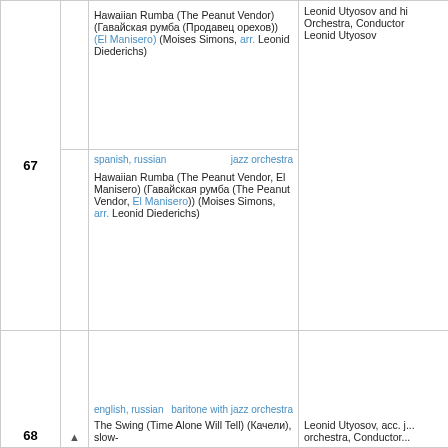| # |  | Info | Performer |
| --- | --- | --- | --- |
| 67 |  | hawaiian, russian / jazz orchestra
Hawaiian Rumba (The Peanut Vendor) (Гавайская румба (Продавец орехов)) (El Manisero) (Moises Simons, arr. Leonid Diederichs)
spanish, russian / jazz orchestra
Hawaiian Rumba (The Peanut Vendor, El Manisero) (Гавайская румба (The Peanut Vendor, El Manisero)) (Moises Simons, arr. Leonid Diederichs) | Leonid Utyosov and his Orchestra, Conductor Leonid Utyosov |
| 68 | ▲ | english, russian / baritone with jazz orchestra
The Swing (Time Alone Will Tell) (Качели), slow- | Leonid Utyosov, acc. j... orchestra, Conductor... |